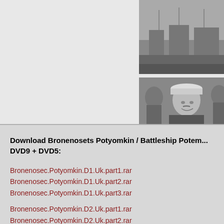[Figure (photo): Black and white historical photo of ships/harbor scene from Battleship Potemkin film]
[Figure (photo): Black and white historical photo of a naval officer in uniform from Battleship Potemkin film]
Download Bronenosets Potyomkin / Battleship Potemkin DVD9 + DVD5:
Bronenosec.Potyomkin.D1.Uk.part1.rar
Bronenosec.Potyomkin.D1.Uk.part2.rar
Bronenosec.Potyomkin.D1.Uk.part3.rar
Bronenosec.Potyomkin.D2.Uk.part1.rar
Bronenosec.Potyomkin.D2.Uk.part2.rar